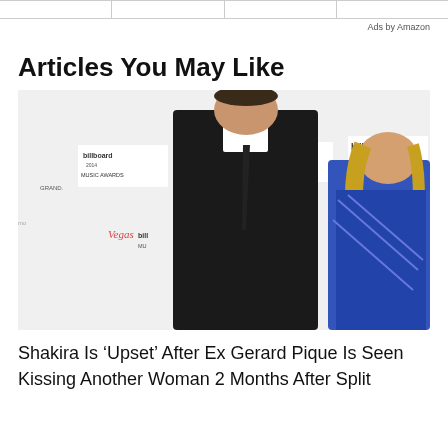Ads by Amazon
Articles You May Like
[Figure (photo): Shakira and Gerard Pique posing together at the Billboard Music Awards. Billboard Music Awards logos and Samsung Galaxy branding visible on step-and-repeat banner in background. Man in black suit with tie, woman in blue sequined dress with long sleeves.]
Shakira Is ‘Upset’ After Ex Gerard Pique Is Seen Kissing Another Woman 2 Months After Split